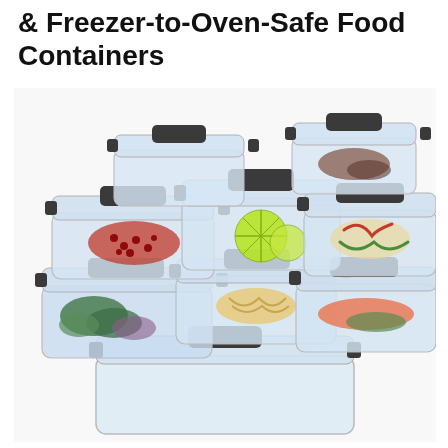& Freezer-to-Oven-Safe Food Containers
[Figure (photo): A pyramid stack of clear glass food storage containers with dark gray snap-lock lids. The containers hold various foods: lime slices, pomegranate seeds, cherries, broccoli, pasta, salmon with vegetables, peppers, and other items. The containers are arranged in ascending tiers from a large rectangular base container at the bottom to smaller containers at the top, all viewed against a white background.]